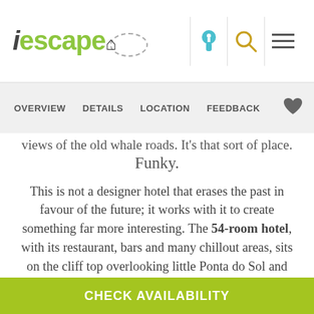iescape [logo with icons]
OVERVIEW   DETAILS   LOCATION   FEEDBACK
views of the old whale roads. It's that sort of place. Funky.
This is not a designer hotel that erases the past in favour of the future; it works with it to create something far more interesting. The 54-room hotel, with its restaurant, bars and many chillout areas, sits on the cliff top overlooking little Ponta do Sol and the sea. The views are to die for, though visiting architects are more taken with the hotel than the vistas: the marriage of old quinta with modernist annexes is
CHECK AVAILABILITY